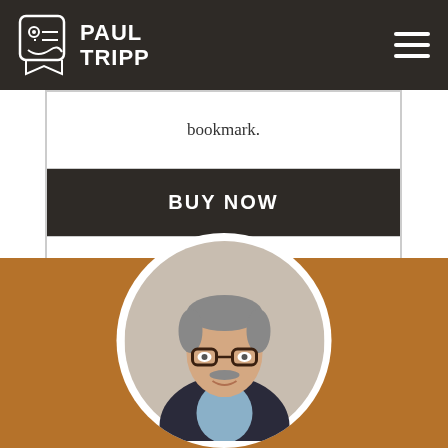Paul Tripp
bookmark.
BUY NOW
Order 3+ for free shipping!
Orders over $50 receive FREE SHIPPING!
[Figure (photo): Circular portrait photo of a man with glasses, mustache, and grey hair wearing a dark blazer, on a brown/tan background section]